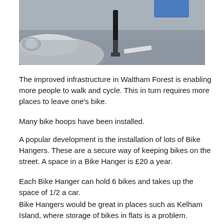[Figure (photo): Photograph showing a street scene with a car and what appears to be a bollard or post, taken from above on a wet road surface.]
The improved infrastructure in Waltham Forest is enabling more people to walk and cycle. This in turn requires more places to leave one's bike.
Many bike hoops have been installed.
A popular development is the installation of lots of Bike Hangers. These are a secure way of keeping bikes on the street. A space in a Bike Hanger is £20 a year.
Each Bike Hanger can hold 6 bikes and takes up the space of 1/2 a car.
Bike Hangers would be great in places such as Kelham Island, where storage of bikes in flats is a problem.
The link below demonstrates how the Bike Hangers work.